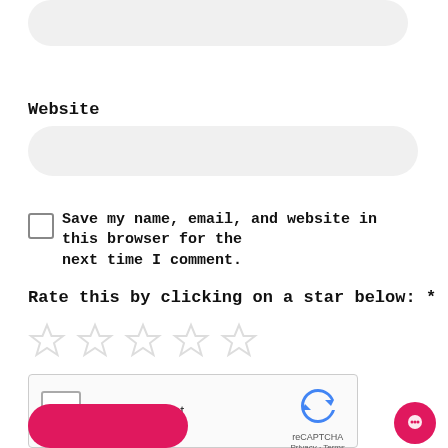Website
[Figure (other): Website text input field (rounded rectangle, light gray background)]
Save my name, email, and website in this browser for the next time I comment.
Rate this by clicking on a star below: *
[Figure (other): Five empty star rating icons]
[Figure (other): reCAPTCHA widget: checkbox labeled I'm not a robot with reCAPTCHA logo, Privacy and Terms links]
[Figure (other): Pink rounded submit button (partially visible at bottom)]
[Figure (other): Pink circular chat/support button at bottom right]